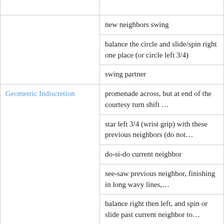| Dance Name | Calls/Figures |
| --- | --- |
|  | new neighbors swing |
|  | balance the circle and slide/spin right one place (or circle left 3/4) |
|  | swing partner |
| Geometric Indiscretion | promenade across, but at end of the courtesy turn shift … |
|  | star left 3/4 (wrist grip) with these previous neighbors (do not… |
|  | do-si-do current neighbor |
|  | see-saw previous neighbor, finishing in long wavy lines,… |
|  | balance right then left, and spin or slide past current neighbor to… |
|  | new neighbors swing |
|  | circle left 3 places (OR balance |